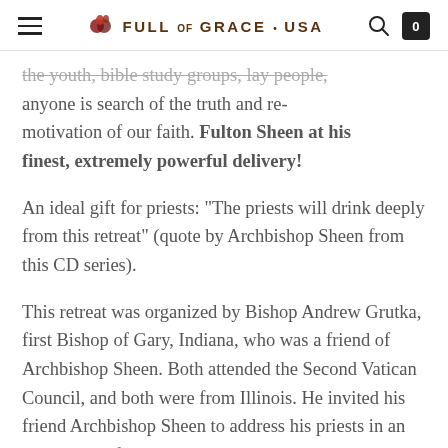Full of Grace USA
the youth, bible study groups, lay people, anyone is search of the truth and re-motivation of our faith. Fulton Sheen at his finest, extremely powerful delivery!
An ideal gift for priests: "The priests will drink deeply from this retreat" (quote by Archbishop Sheen from this CD series).
This retreat was organized by Bishop Andrew Grutka, first Bishop of Gary, Indiana, who was a friend of Archbishop Sheen. Both attended the Second Vatican Council, and both were from Illinois. He invited his friend Archbishop Sheen to address his priests in an open retreat for